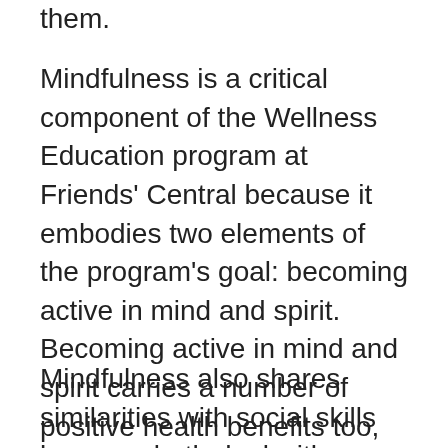them.
Mindfulness is a critical component of the Wellness Education program at Friends' Central because it embodies two elements of the program's goal: becoming active in mind and spirit. Becoming active in mind and spirit carries a number of positive health benefits too, which reinforces the fact that sports participation builds on more than just physical strength and speed.
Mindfulness also shares similarities with social skills because both deal with cultivating a welcoming, positive, and inclusive attitude when dealing with others.